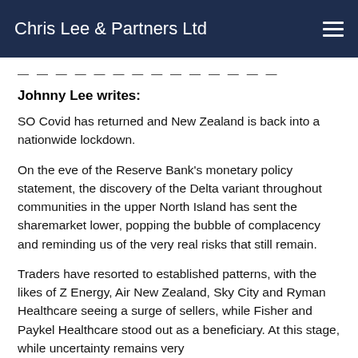Chris Lee & Partners Ltd
— — — — — — — — — — — — — —
Johnny Lee writes:
SO Covid has returned and New Zealand is back into a nationwide lockdown.
On the eve of the Reserve Bank's monetary policy statement, the discovery of the Delta variant throughout communities in the upper North Island has sent the sharemarket lower, popping the bubble of complacency and reminding us of the very real risks that still remain.
Traders have resorted to established patterns, with the likes of Z Energy, Air New Zealand, Sky City and Ryman Healthcare seeing a surge of sellers, while Fisher and Paykel Healthcare stood out as a beneficiary. At this stage, while uncertainty remains very